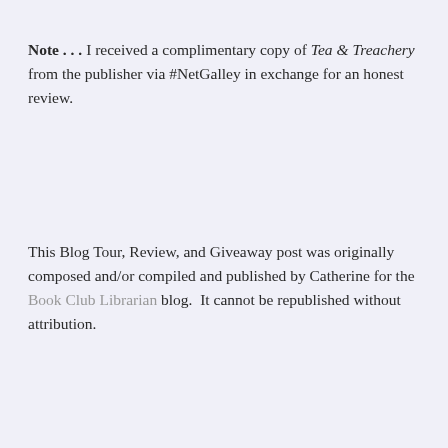Note . . . I received a complimentary copy of Tea & Treachery from the publisher via #NetGalley in exchange for an honest review.
This Blog Tour, Review, and Giveaway post was originally composed and/or compiled and published by Catherine for the Book Club Librarian blog.  It cannot be republished without attribution.